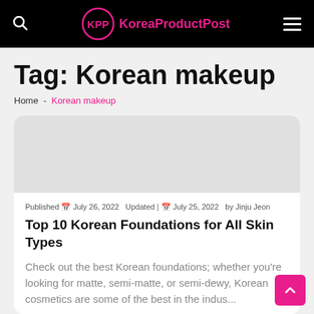KoreaProductPost
Tag: Korean makeup
Home - Korean makeup
Published  July 26, 2022  Updated  July 25, 2022  by Jinju Jeon
Top 10 Korean Foundations for All Skin Types
Check out the best Korean foundations; whether you're looking for matte, semi-matte, or semi-dewy, Korean cosmetics are some of the best in the indus...